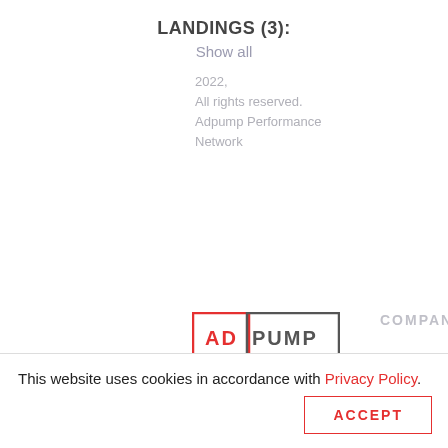LANDINGS (3):
Show all
[Figure (logo): AdPump logo — AD in red, PUMP in dark gray, enclosed in a rectangular border with red left edge]
2022,
All rights reserved.
Adpump Performance Network
COMPANY
About us
Privacy Policy
This website uses cookies in accordance with Privacy Policy.
ACCEPT